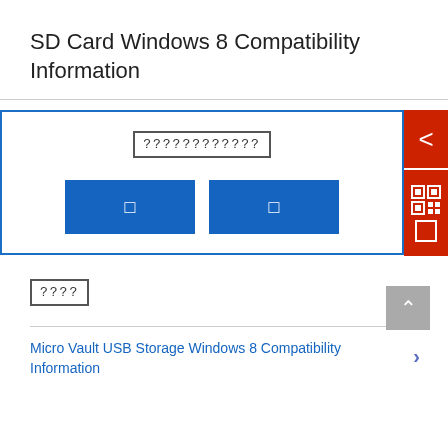SD Card Windows 8 Compatibility Information
[Figure (screenshot): Slideshow widget with a bordered box containing placeholder text and two blue buttons, plus a red side panel with a back arrow and QR code icon]
[????]
Micro Vault USB Storage Windows 8 Compatibility Information